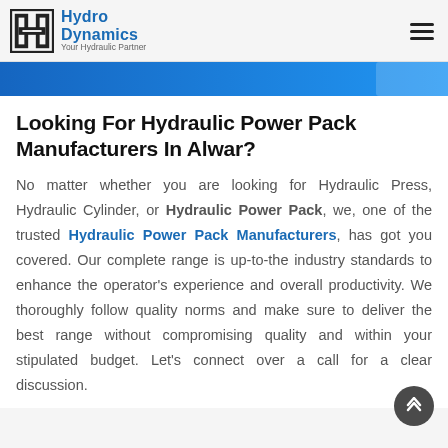Hydro Dynamics — Your Hydraulic Partner
[Figure (logo): Hydro Dynamics logo with stylized HD icon and tagline 'Your Hydraulic Partner']
Looking For Hydraulic Power Pack Manufacturers In Alwar?
No matter whether you are looking for Hydraulic Press, Hydraulic Cylinder, or Hydraulic Power Pack, we, one of the trusted Hydraulic Power Pack Manufacturers, has got you covered. Our complete range is up-to-the industry standards to enhance the operator's experience and overall productivity. We thoroughly follow quality norms and make sure to deliver the best range without compromising quality and within your stipulated budget. Let's connect over a call for a clear discussion.